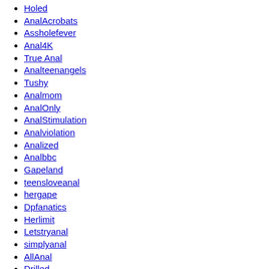Holed
AnalAcrobats
Assholefever
Anal4K
True Anal
Analteenangels
Tushy
Analmom
AnalOnly
AnalStimulation
Analviolation
Analized
Analbbc
Gapeland
teensloveanal
hergape
Dpfanatics
Herlimit
Letstryanal
simplyanal
AllAnal
Drilled
Naughtyblog
Anal Porn Pics
Cliphunter